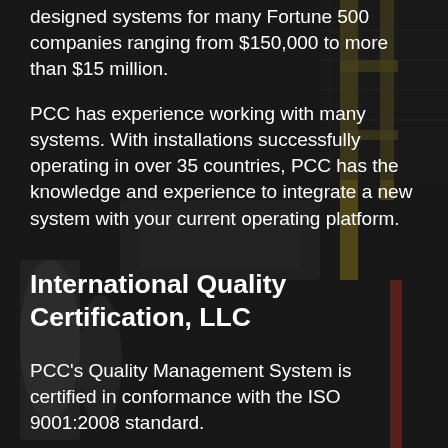[Figure (photo): Industrial facility background with machinery, yellow scaffolding, pipes, and steel equipment visible in a dark, dimly lit warehouse setting.]
designed systems for many Fortune 500 companies ranging from $150,000 to more than $15 million.
PCC has experience working with many systems.  With installations successfully operating in over 35 countries, PCC has the knowledge and experience to integrate a new system with your current operating platform.
International Quality Certification, LLC
PCC's Quality Management System is certified in conformance with the ISO 9001:2008 standard.